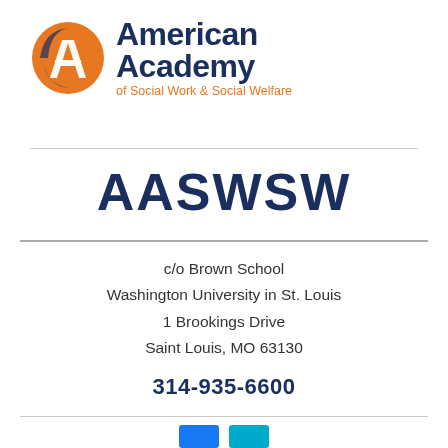[Figure (logo): American Academy of Social Work & Social Welfare logo with orange circular emblem and dark navy text]
AASWSW
c/o Brown School
Washington University in St. Louis
1 Brookings Drive
Saint Louis, MO 63130
314-935-6600
[Figure (other): Social media icon buttons (Facebook blue, Twitter/teal)]